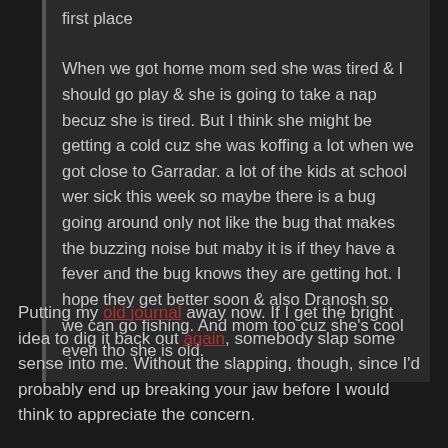first place

When we got home mom sed she was tired & I should go play & she is going to take a nap becuz she is tired. But I think she might be getting a cold cuz she was koffing a lot when we got close to Garradar. a lot of the kids at school wer sick this week so maybe there is a bug going around only not like the bug that makes the buzzing noise but maby it is if they have a fever and the bug knows they are getting hot. I hope they get better soon & also Dranosh so we can go fishing. And mom too cuz she's cool even tho she is old.
Putting my old journal away now. If I get the bright idea to dig it back out again, somebody slap some sense into me. Without the slapping, though, since I'd probably end up breaking your jaw before I would think to appreciate the concern.